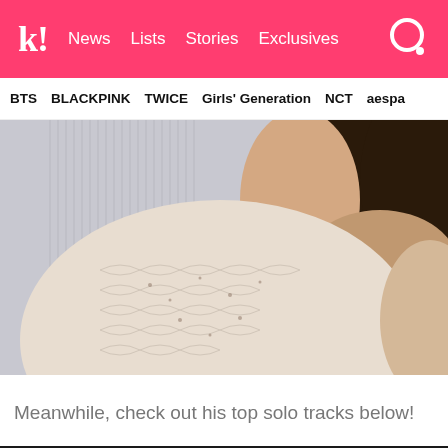k! News  Lists  Stories  Exclusives
BTS  BLACKPINK  TWICE  Girls' Generation  NCT  aespa
[Figure (photo): Close-up photo of a person wearing a chunky cream/beige knit sweater, viewed from behind/side, with blurred background including wooden furniture]
Meanwhile, check out his top solo tracks below!
[Figure (screenshot): YouTube video embed showing 'Inner Child' with channel thumbnail (group photo), video title text, three-dot menu, and YouTube logo visible in video content area]